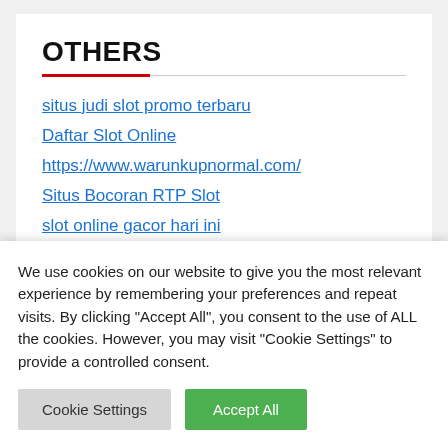OTHERS
situs judi slot promo terbaru
Daftar Slot Online
https://www.warunkupnormal.com/
Situs Bocoran RTP Slot
slot online gacor hari ini
YOU MAY HAVE MISSED
We use cookies on our website to give you the most relevant experience by remembering your preferences and repeat visits. By clicking "Accept All", you consent to the use of ALL the cookies. However, you may visit "Cookie Settings" to provide a controlled consent.